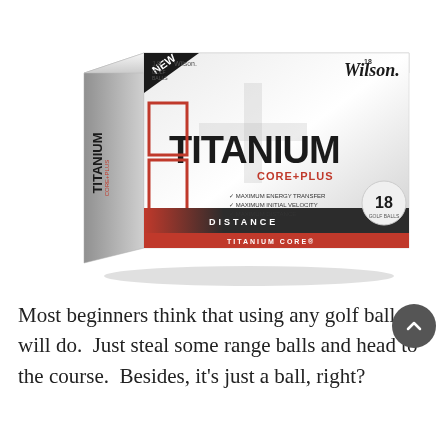[Figure (photo): Box of Wilson Titanium Core Plus golf balls, 18 count. Box is white with red and dark accents. Front face shows 'TITANIUM' in large bold letters, 'CORE+PLUS' below, 'Wilson' brand top right, 'NEW' banner top left corner, 'DISTANCE' and 'TITANIUM CORE' on lower band, features: MAXIMUM ENERGY TRANSFER, MAXIMUM INITIAL VELOCITY, MAXIMUM DISTANCE. Left side shows 'TITANIUM' and 'CORE+PLUS'. Top shows '18' count and 'Wilson' logo.]
Most beginners think that using any golf ball will do.  Just steal some range balls and head to the course.  Besides, it's just a ball, right?